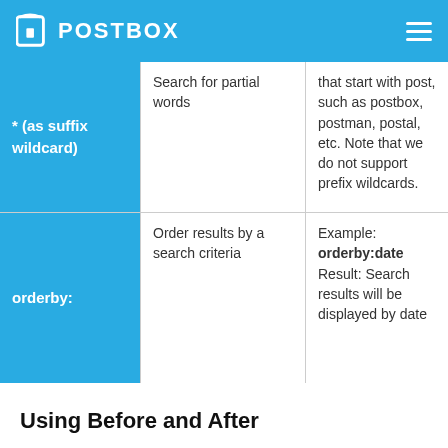POSTBOX
| Operator | Function | Example/Notes |
| --- | --- | --- |
| * (as suffix wildcard) | Search for partial words | that start with post, such as postbox, postman, postal, etc. Note that we do not support prefix wildcards. |
| orderby: | Order results by a search criteria | Example: orderby:date Result: Search results will be displayed by date |
Using Before and After